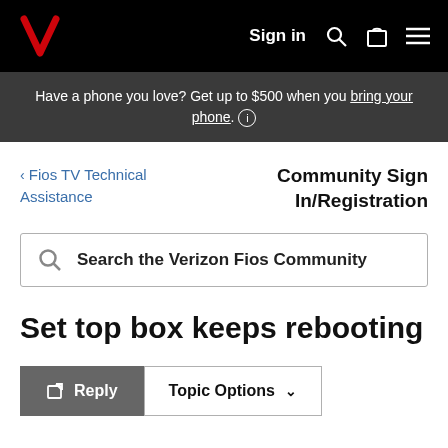Verizon navigation bar: Sign in, Search, Cart, Menu
Have a phone you love? Get up to $500 when you bring your phone. (i)
< Fios TV Technical Assistance
Community Sign In/Registration
Search the Verizon Fios Community
Set top box keeps rebooting
Reply   Topic Options